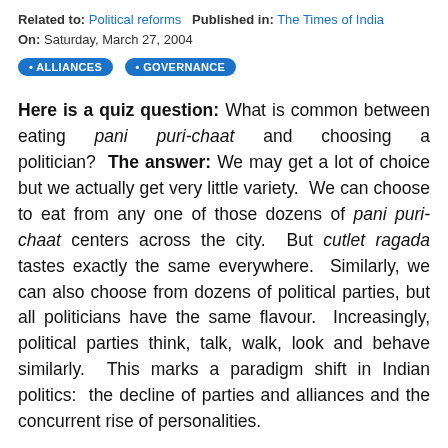Related to: Political reforms   Published in: The Times of India
On: Saturday, March 27, 2004
• ALLIANCES
• GOVERNANCE
Here is a quiz question: What is common between eating pani puri-chaat and choosing a politician?  The answer: We may get a lot of choice but we actually get very little variety.  We can choose to eat from any one of those dozens of pani puri-chaat centers across the city.  But cutlet ragada tastes exactly the same everywhere.  Similarly, we can also choose from dozens of political parties, but all politicians have the same flavour.  Increasingly, political parties think, talk, walk, look and behave similarly.  This marks a paradigm shift in Indian politics:  the decline of parties and alliances and the concurrent rise of personalities.